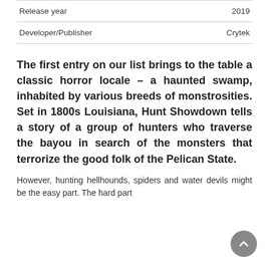|  |  |
| --- | --- |
| Release year | 2019 |
| Developer/Publisher | Crytek |
The first entry on our list brings to the table a classic horror locale – a haunted swamp, inhabited by various breeds of monstrosities. Set in 1800s Louisiana, Hunt Showdown tells a story of a group of hunters who traverse the bayou in search of the monsters that terrorize the good folk of the Pelican State.
However, hunting hellhounds, spiders and water devils might be the easy part. The hard part